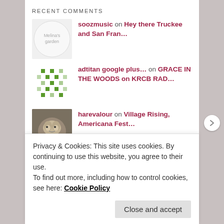RECENT COMMENTS
soozmusic on Hey there Truckee and San Fran...
adtitan google plus... on GRACE IN THE WOODS on KRCB RAD...
harevalour on Village Rising, Americana Fest...
Carmelo on Beso Negro at OREGON COUNTRY F...
Cyndy Chan on DENIM WEDDING new on SoozMusic...
Privacy & Cookies: This site uses cookies. By continuing to use this website, you agree to their use. To find out more, including how to control cookies, see here: Cookie Policy
Close and accept